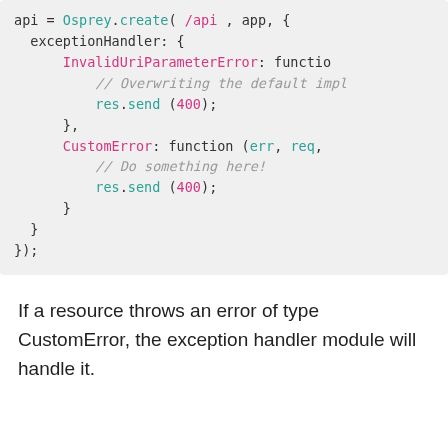[Figure (screenshot): Code block showing JavaScript API creation with exceptionHandler configuration containing InvalidUriParameterError and CustomError handlers, each calling res.send(400)]
If a resource throws an error of type CustomError, the exception handler module will handle it.